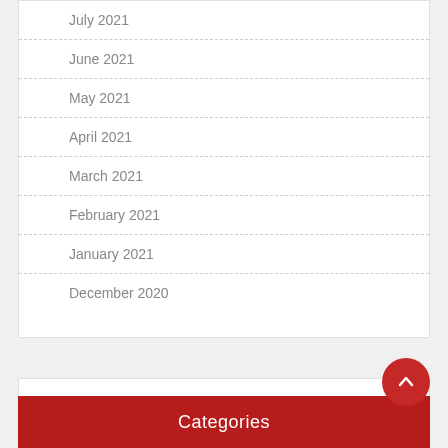July 2021
June 2021
May 2021
April 2021
March 2021
February 2021
January 2021
December 2020
Categories